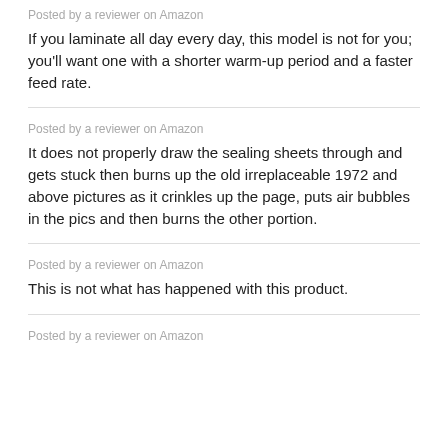Posted by a reviewer on Amazon
If you laminate all day every day, this model is not for you; you'll want one with a shorter warm-up period and a faster feed rate.
Posted by a reviewer on Amazon
It does not properly draw the sealing sheets through and gets stuck then burns up the old irreplaceable 1972 and above pictures as it crinkles up the page, puts air bubbles in the pics and then burns the other portion.
Posted by a reviewer on Amazon
This is not what has happened with this product.
Posted by a reviewer on Amazon